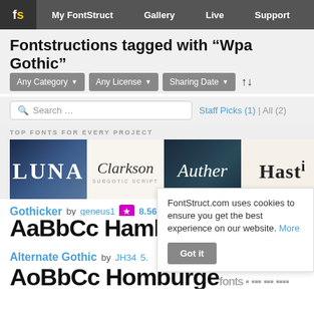FontStruct | My FontStruct | Gallery | Live | Support
Fontstructions tagged with “Wpa Gothic”
Any Category | Any License | Sharing Date
Search … Staff Picks (1) | All (2)
[Figure (illustration): Ad banner showing top fonts: LUNA, Clarkson, Auther, Hasti]
TOP FONTS FOR EVERY PROJECT
Gothicker by geneus1 ★ 8.56 13 votes
AaBbCc Hamburge
Alternate Gothic by JH34 5.
AaBbCc Homburgefonts
FontStruct.com uses cookies to ensure you get the best experience on our website. More
Got it